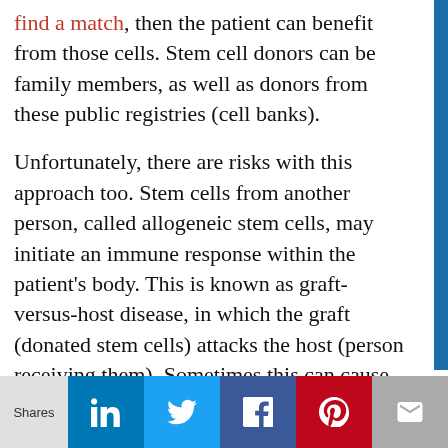find a match, then the patient can benefit from those cells. Stem cell donors can be family members, as well as donors from these public registries (cell banks).
Unfortunately, there are risks with this approach too. Stem cells from another person, called allogeneic stem cells, may initiate an immune response within the patient's body. This is known as graft-versus-host disease, in which the graft (donated stem cells) attacks the host (person receiving them). Sometimes this can cause lifelong issues or even death.
Shares [LinkedIn] [Twitter] [Facebook] [Pinterest] [Email]